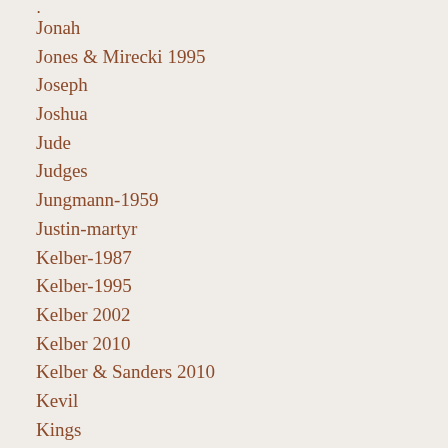j
Jonah
Jones & Mirecki 1995
Joseph
Joshua
Jude
Judges
Jungmann-1959
Justin-martyr
Kelber-1987
Kelber-1995
Kelber 2002
Kelber 2010
Kelber & Sanders 2010
Kevil
Kings
Kleinig-2013
Kloppenborg 1979
Kloppenborg 1995
Koch2010